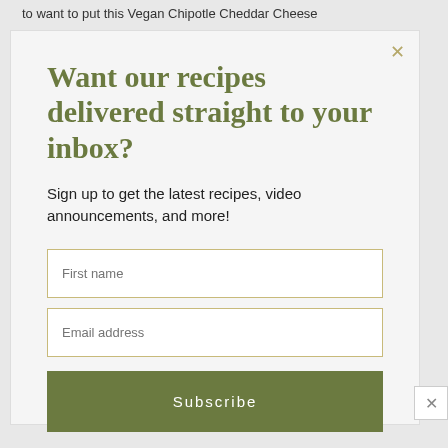to want to put this Vegan Chipotle Cheddar Cheese
Want our recipes delivered straight to your inbox?
Sign up to get the latest recipes, video announcements, and more!
First name
Email address
Subscribe